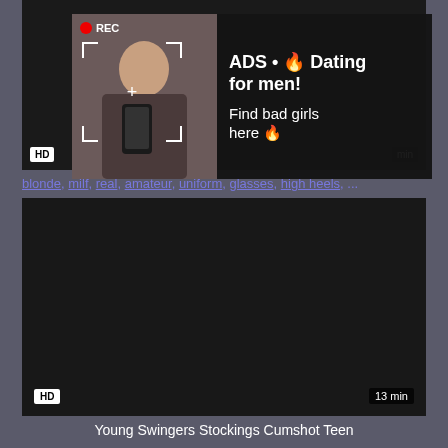[Figure (screenshot): Video thumbnail with HD badge and duration, top section]
[Figure (photo): Ad overlay showing person taking mirror selfie with REC indicator and camera viewfinder]
ADS • 🔥 Dating for men! Find bad girls here 🔥
blonde, milf, real, amateur, uniform, glasses, high heels, ...
[Figure (screenshot): Black video thumbnail area with HD badge and 13 min duration]
Young Swingers Stockings Cumshot Teen